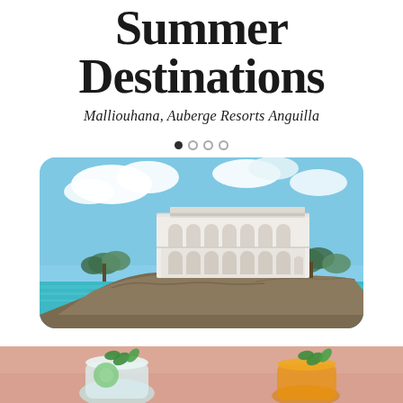Summer Destinations
Malliouhana, Auberge Resorts Anguilla
[Figure (photo): Aerial/water-level view of the Malliouhana resort building perched on a rocky cliff above turquoise Caribbean water, with palm trees and lush greenery surrounding the white multi-story building]
[Figure (photo): Two tropical cocktail drinks photographed from above on a warm peachy-pink background — a light iced drink garnished with mint and cucumber on the left, and an orange/mango drink garnished with mint on the right, with a copy/layers icon in the upper right corner]